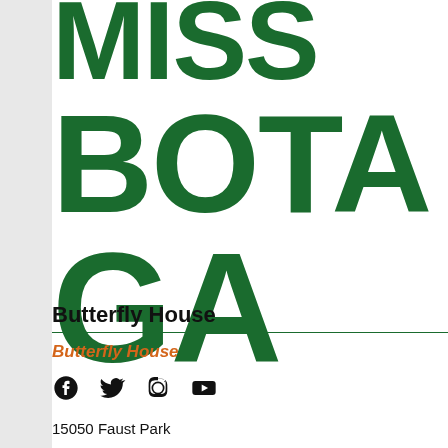MISS BOTA GA
Butterfly House
Butterfly House
15050 Faust Park